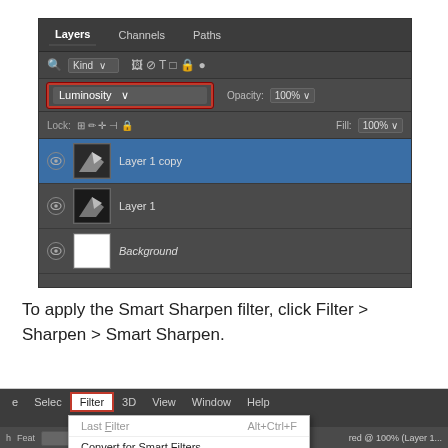[Figure (screenshot): Photoshop Layers panel showing Luminosity blend mode selected (highlighted with red border), Opacity 100%, Fill 100%, with three layers: Layer 1 copy (selected), Layer 1, and Background.]
To apply the Smart Sharpen filter, click Filter > Sharpen > Smart Sharpen.
[Figure (screenshot): Photoshop menu bar with Filter menu open, showing Last Filter (Alt+Ctrl+F) and Convert for Smart Filters options. Filter menu item is highlighted with a red border.]